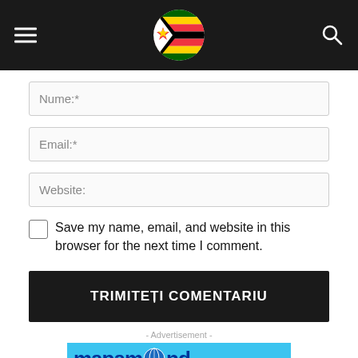Navigation header with hamburger menu, Zimbabwe flag logo, and search icon
Nume:*
Email:*
Website:
Save my name, email, and website in this browser for the next time I comment.
TRIMITEȚI COMENTARIU
- Advertisement -
[Figure (logo): Mapamond domains advertisement banner with blue background showing 'mapamond' in large dark blue bold text with a globe icon, and 'domains' below in dark text]